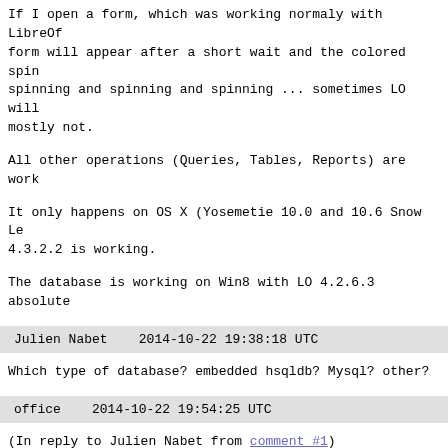If I open a form, which was working normaly with LibreOf form will appear after a short wait and the colored spin spinning and spinning and spinning ... sometimes LO will mostly not.
All other operations (Queries, Tables, Reports) are work
It only happens on OS X (Yosemetie 10.0 and 10.6 Snow Le 4.3.2.2 is working.
The database is working on Win8 with LO 4.2.6.3 absolute
Julien Nabet    2014-10-22 19:38:18 UTC
Which type of database? embedded hsqldb? Mysql? other?
office    2014-10-22 19:54:25 UTC
(In reply to Julien Nabet from comment #1)
> Which type of database? embedded hsqldb? Mysql? other?
type of DB: embedded hsqldb, localy stored (not on an se
Julien Nabet    2014-10-22 19:56:18 UTC
Would it be possible you attach the file (have in mind t automatically made public, so remove any private/confide